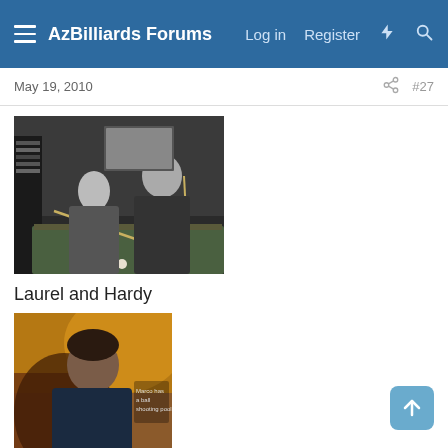AzBilliards Forums — Log in  Register
May 19, 2010   #27
[Figure (photo): Black and white photo of Laurel and Hardy playing billiards/pool at a pool table, one leaning over with a cue stick]
Laurel and Hardy
[Figure (photo): Color photo of Marco Sanchez, a young person leaning over a pool table with text overlay reading 'Marco has a ball shooting pool']